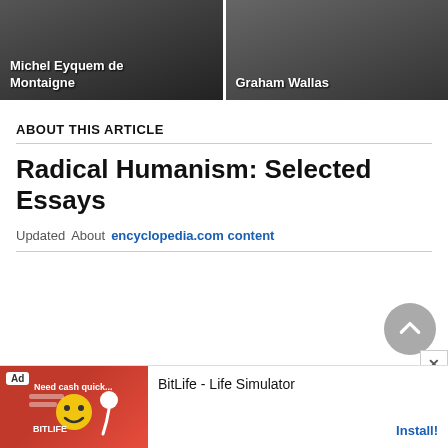[Figure (photo): Dark photo of Michel Eyquem de Montaigne with white text label]
[Figure (photo): Dark photo of Graham Wallas with white text label]
ABOUT THIS ARTICLE
Radical Humanism: Selected Essays
Updated   About encyclopedia.com content
[Figure (screenshot): Ad banner: BitLife - Life Simulator with Install! link]